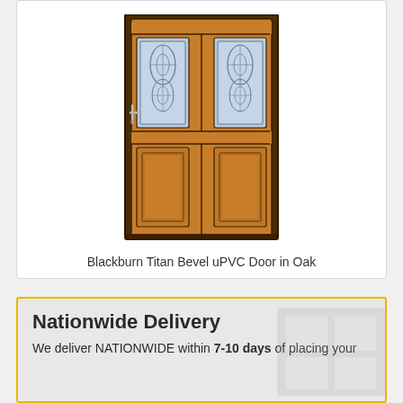[Figure (illustration): Oak-coloured uPVC front door with four panels: two upper panels with decorative bevel glass inserts featuring oval/eye patterns, two lower solid raised panels. Door has a silver lever handle on the left side.]
Blackburn Titan Bevel uPVC Door in Oak
Nationwide Delivery
We deliver NATIONWIDE within 7-10 days of placing your